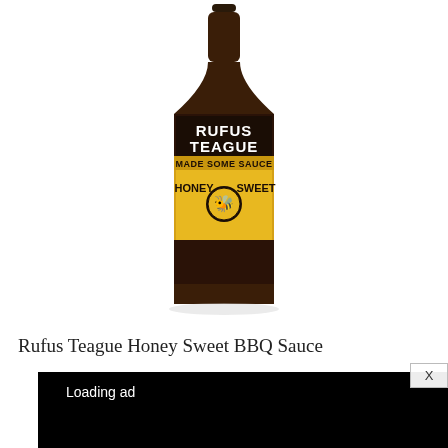[Figure (photo): Rufus Teague Honey Sweet BBQ Sauce bottle product photo on white background]
Rufus Teague Honey Sweet BBQ Sauce
[Figure (screenshot): Video player with black background showing 'Loading ad' text, a spinning loading indicator, and playback controls (pause, fullscreen, mute) at bottom]
[Figure (screenshot): Close button X in top right of ad area]
[Figure (infographic): Social share bar with Facebook, Twitter, Pinterest (with count 1), email, and refresh/share icons]